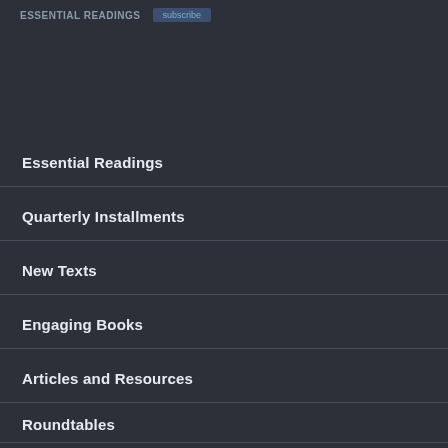Essential Readings
Essential Readings
Quarterly Installments
New Texts
Engaging Books
Articles and Resources
Roundtables
About MESBL